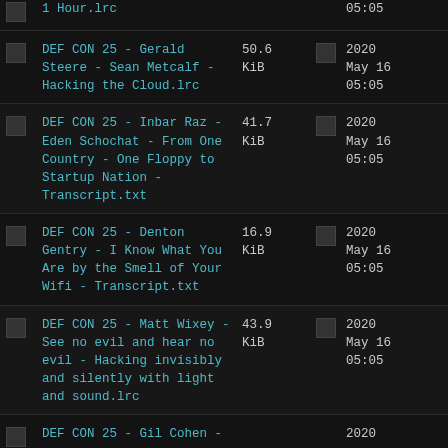1 Hour.lrc — 05:05
DEF CON 25 - Gerald Steere - Sean Metcalf - Hacking the Cloud.lrc — 50.6 KiB — 2020 May 16 05:05
DEF CON 25 - Inbar Raz - Eden Schochat - From One Country - One Floppy to Startup Nation - Transcript.txt — 41.7 KiB — 2020 May 16 05:05
DEF CON 25 - Denton Gentry - I Know What You Are by the Smell of Your Wifi - Transcript.txt — 16.9 KiB — 2020 May 16 05:05
DEF CON 25 - Matt Wixey - See no evil and hear no evil - Hacking invisibly and silently with light and sound.lrc — 43.9 KiB — 2020 May 16 05:05
DEF CON 25 - Gil Cohen - 2020